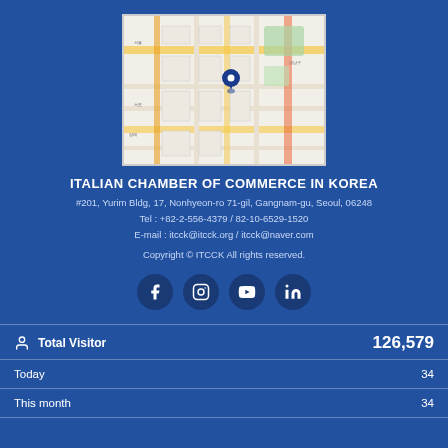[Figure (map): Street map showing location in Gangnam-gu, Seoul, Korea with a blue map pin marker]
ITALIAN CHAMBER OF COMMERCE IN KOREA
#201, Yurim Bldg, 17, Nonhyeon-ro 71-gil, Gangnam-gu, Seoul, 06248
Tel : +82-2-556-4379 / 82-10-6529-1520
E-mail : itcck@itcck.org / itcck@naver.com
Copyright © ITCCK All rights reserved.
[Figure (infographic): Social media icons: Facebook, Instagram, YouTube, LinkedIn in dark blue circles]
Total Visitor 126,579
Today 34
This month 34